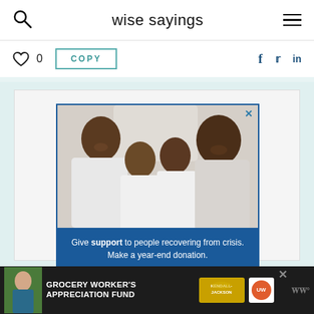wise sayings
0  COPY  f  t  in
[Figure (photo): Advertisement with a photo of a smiling family (two adults, two children) in white clothing against a light background. Below the photo is a blue panel with text: Give support to people recovering from crisis. Make a year-end donation. United Way logo at bottom.]
[Figure (photo): Bottom banner advertisement for Grocery Worker's Appreciation Fund featuring Kendall-Jackson and United Way logos. Shows a grocery worker on the left.]